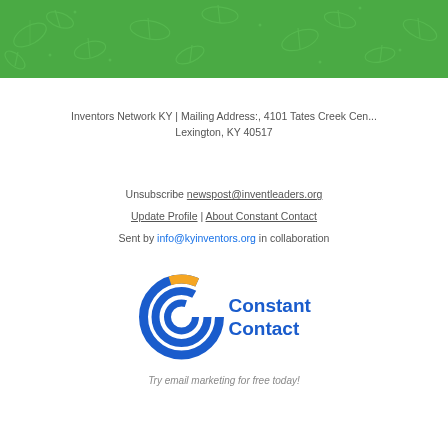[Figure (illustration): Green decorative banner with white leaf/floral pattern outlines]
Inventors Network KY | Mailing Address:, 4101 Tates Creek Cen...
Lexington, KY 40517
Unsubscribe newspost@inventleaders.org
Update Profile | About Constant Contact
Sent by info@kyinventors.org in collaboration
[Figure (logo): Constant Contact logo — blue circular swirl icon with orange accent, blue bold text 'Constant Contact']
Try email marketing for free today!